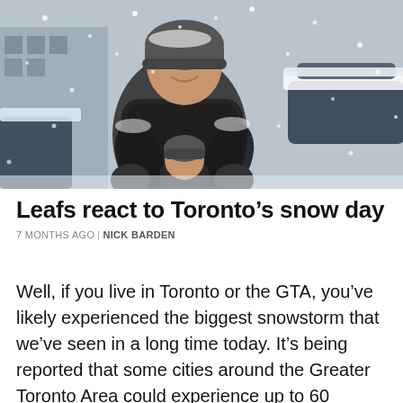[Figure (photo): A smiling man in a winter jacket and grey beanie hat, covered in snow, leaning over a small child also wearing a grey beanie, outdoors during a heavy snowstorm with snow-covered vehicles in the background.]
Leafs react to Toronto’s snow day
7 MONTHS AGO | NICK BARDEN
Well, if you live in Toronto or the GTA, you’ve likely experienced the biggest snowstorm that we’ve seen in a long time today. It’s being reported that some cities around the Greater Toronto Area could experience up to 60 centimetres of snow. That’s madness. The blizzard has been so bad that it